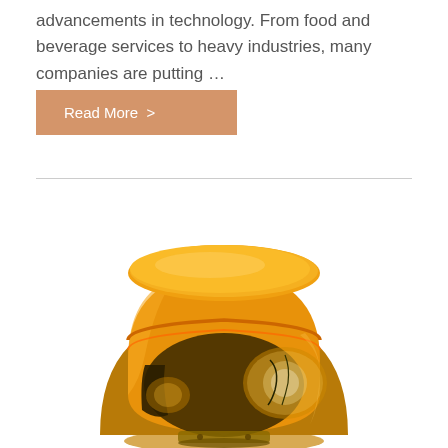advancements in technology. From food and beverage services to heavy industries, many companies are putting …
Read More >
[Figure (photo): Orange/amber rotating beacon warning light with dome-shaped transparent amber cover showing internal bulb and reflector mechanism]